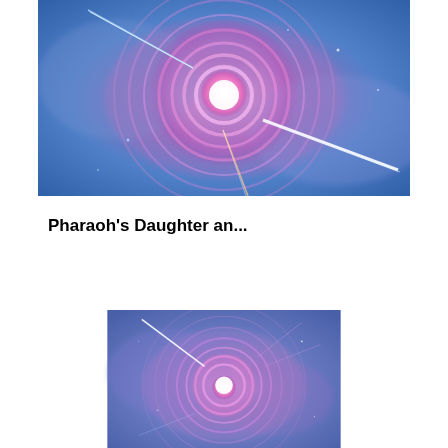[Figure (illustration): Space vortex illustration: glowing pink/purple spiral rings on a blue cosmic background with light rays/streaks shooting outward]
Pharaoh's Daughter an...
[Figure (illustration): Space vortex illustration: similar glowing pink/purple spiral rings on a blue-purple cosmic background, slightly different angle/zoom]